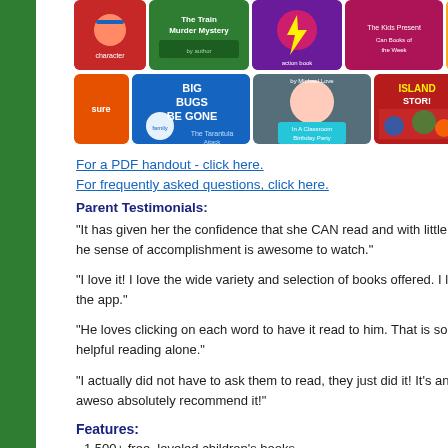[Figure (screenshot): Grid of children's book cover thumbnails including The Train Murder Mystery, Big Bugs Be Gone, The Tarantula Attack, A Classroom Birthday Party, Pinkie Pie Salon, and other illustrated children's books]
For a PDF handout - click here.
For frequently asked questions, click here.
Parent Testimonials:
“It has given her the confidence that she CAN read and with little to no he sense of accomplishment is awesome to watch.”
“I love it! I love the wide variety and selection of books offered. I love the app.”
“He loves clicking on each word to have it read to him. That is so helpful reading alone.”
“I actually did not have to ask them to read, they just did it! It’s an aweso absolutely recommend it!”
Features:
1,500+ free, leveled children’s books